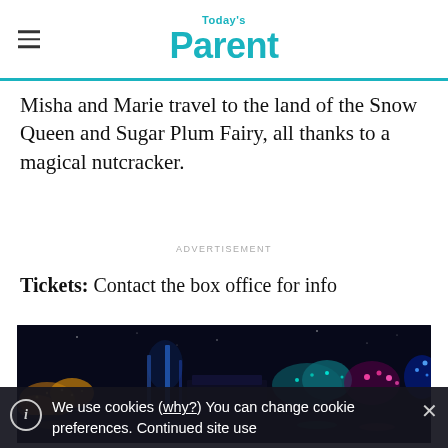Today's Parent
Misha and Marie travel to the land of the Snow Queen and Sugar Plum Fairy, all thanks to a magical nutcracker.
ADVERTISEMENT
Tickets: Contact the box office for info
[Figure (photo): Night scene with colorful illuminated displays including blue, teal, and yellow light installations against a dark sky]
We use cookies (why?) You can change cookie preferences. Continued site use